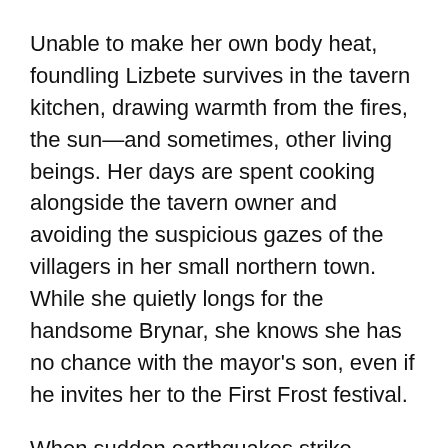Unable to make her own body heat, foundling Lizbete survives in the tavern kitchen, drawing warmth from the fires, the sun—and sometimes, other living beings. Her days are spent cooking alongside the tavern owner and avoiding the suspicious gazes of the villagers in her small northern town. While she quietly longs for the handsome Brynar, she knows she has no chance with the mayor's son, even if he invites her to the First Frost festival.
When sudden earthquakes strike Brumehome, blame falls upon Lizbete, and not even her friendship with Brynar can protect her. She finds shelter in the dangerous caverns of nearby Ash Mountain. There she discovers mysterious people with her same ability to draw heat—and a fiery doom in the mountain that slowly awakens with every quake.